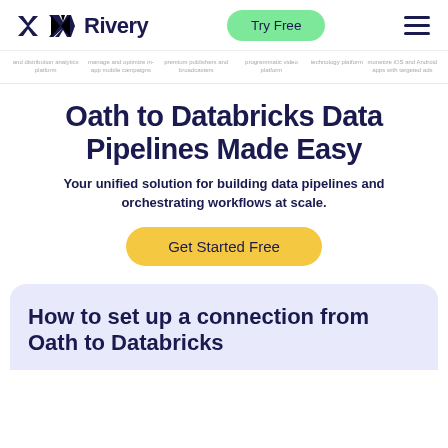Rivery — Try Free
[Figure (screenshot): Scrolling partner logos/descriptions bar with small text items]
Oath to Databricks Data Pipelines Made Easy
Your unified solution for building data pipelines and orchestrating workflows at scale.
Get Started Free
How to set up a connection from Oath to Databricks